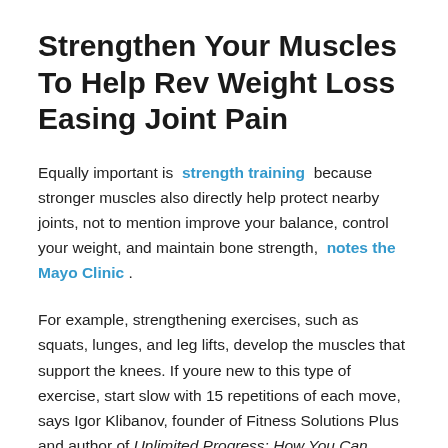Strengthen Your Muscles To Help Rev Weight Loss Easing Joint Pain
Equally important is strength training because stronger muscles also directly help protect nearby joints, not to mention improve your balance, control your weight, and maintain bone strength, notes the Mayo Clinic .
For example, strengthening exercises, such as squats, lunges, and leg lifts, develop the muscles that support the knees. If youre new to this type of exercise, start slow with 15 repetitions of each move, says Igor Klibanov, founder of Fitness Solutions Plus and author of Unlimited Progress: How You Can Unlock Your Body's Potential. Then build up to